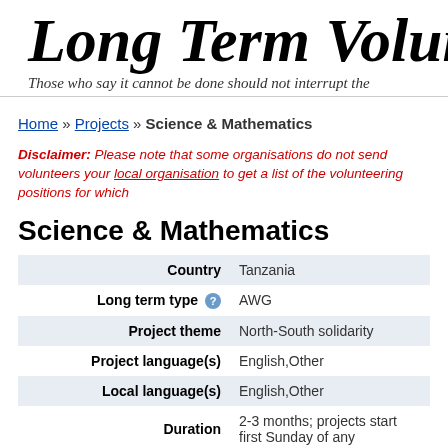Long Term Voluntee
Those who say it cannot be done should not interrupt the
Home » Projects » Science & Mathematics
Disclaimer: Please note that some organisations do not send volunteers your local organisation to get a list of the volunteering positions for which
Science & Mathematics
|  |  |
| --- | --- |
| Country | Tanzania |
| Long term type | AWG |
| Project theme | North-South solidarity |
| Project language(s) | English,Other |
| Local language(s) | English,Other |
| Duration | 2-3 months; projects start first Sunday of any |